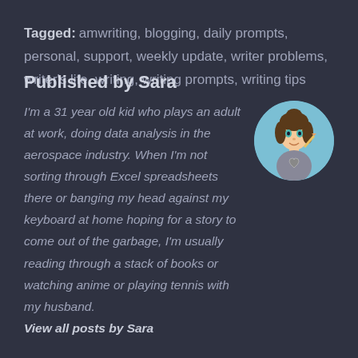Tagged: amwriting, blogging, daily prompts, personal, support, weekly update, writer problems, writer's life, writing, writing prompts, writing tips
Published by Sara
[Figure (illustration): Circular avatar illustration of Sara — a cartoon character with brown hair in a bun, teal eyes, holding a pencil, wearing a shirt with an asexual pride heart symbol, on a light blue background]
I'm a 31 year old kid who plays an adult at work, doing data analysis in the aerospace industry. When I'm not sorting through Excel spreadsheets there or banging my head against my keyboard at home hoping for a story to come out of the garbage, I'm usually reading through a stack of books or watching anime or playing tennis with my husband. View all posts by Sara